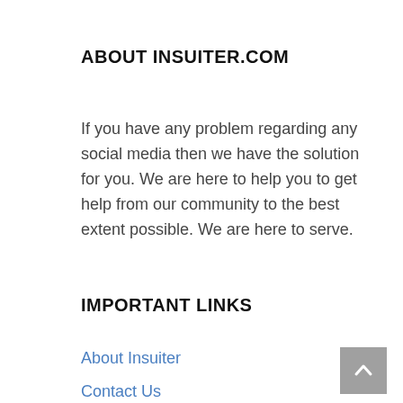ABOUT INSURITER.COM
If you have any problem regarding any social media then we have the solution for you. We are here to help you to get help from our community to the best extent possible. We are here to serve.
IMPORTANT LINKS
About Insuiter
Contact Us
Cookies Policy